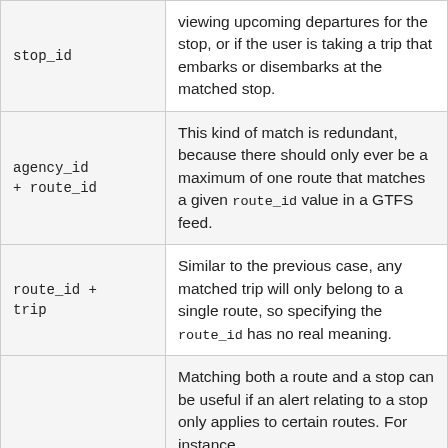| Key | Description |
| --- | --- |
| stop_id | viewing upcoming departures for the stop, or if the user is taking a trip that embarks or disembarks at the matched stop. |
| agency_id + route_id | This kind of match is redundant, because there should only ever be a maximum of one route that matches a given route_id value in a GTFS feed. |
| route_id + trip | Similar to the previous case, any matched trip will only belong to a single route, so specifying the route_id has no real meaning. |
| (partial) | Matching both a route and a stop can be useful if an alert relating to a stop only applies to certain routes. For instance, |